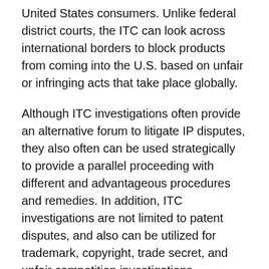United States consumers. Unlike federal district courts, the ITC can look across international borders to block products from coming into the U.S. based on unfair or infringing acts that take place globally.
Although ITC investigations often provide an alternative forum to litigate IP disputes, they also often can be used strategically to provide a parallel proceeding with different and advantageous procedures and remedies. In addition, ITC investigations are not limited to patent disputes, and also can be utilized for trademark, copyright, trade secret, and unfair competition investigations.
Some key advantages of using the ITC to resolve IP disputes are: